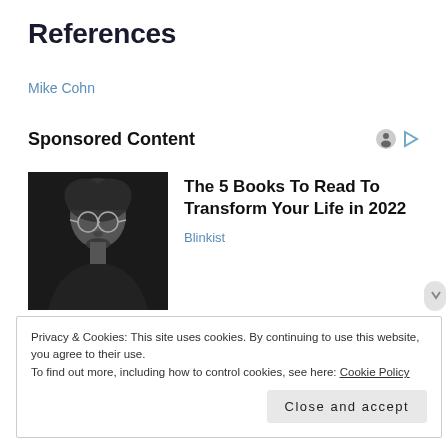References
Mike Cohn
Sponsored Content
[Figure (photo): Black and white portrait photo of a young man with glasses and long hair]
The 5 Books To Read To Transform Your Life in 2022
Blinkist
Privacy & Cookies: This site uses cookies. By continuing to use this website, you agree to their use.
To find out more, including how to control cookies, see here: Cookie Policy
Close and accept